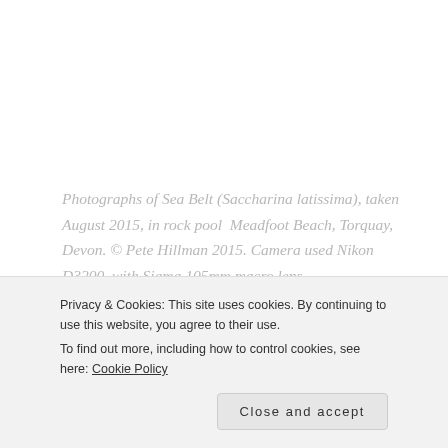Photographs of Sea Belt (Saccharina latissima), taken August 2015, in rock pool  Meadfoot Beach, Torquay, Devon. © Pete Hillman 2015. Camera used Nikon D3200, with Sigma 105mm macro lens.
Share this:
Privacy & Cookies: This site uses cookies. By continuing to use this website, you agree to their use.
To find out more, including how to control cookies, see here: Cookie Policy